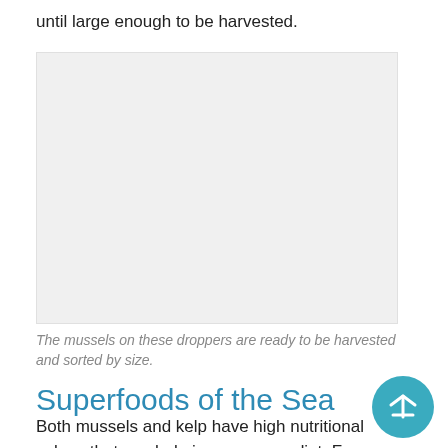until large enough to be harvested.
[Figure (photo): Photograph of mussels on droppers ready to be harvested and sorted by size.]
The mussels on these droppers are ready to be harvested and sorted by size.
Superfoods of the Sea
Both mussels and kelp have high nutritional values that can help improve your diet. For instance, a four-ounce